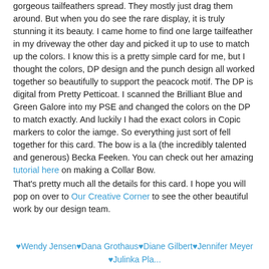gorgeous tailfeathers spread. They mostly just drag them around. But when you do see the rare display, it is truly stunning it its beauty. I came home to find one large tailfeather in my driveway the other day and picked it up to use to match up the colors. I know this is a pretty simple card for me, but I thought the colors, DP design and the punch design all worked together so beautifully to support the peacock motif. The DP is digital from Pretty Petticoat. I scanned the Brilliant Blue and Green Galore into my PSE and changed the colors on the DP to match exactly. And luckily I had the exact colors in Copic markers to color the iamge. So everything just sort of fell together for this card. The bow is a la (the incredibly talented and generous) Becka Feeken. You can check out her amazing tutorial here on making a Collar Bow.
That's pretty much all the details for this card. I hope you will pop on over to Our Creative Corner to see the other beautiful work by our design team.
♥Wendy Jensen♥Dana Grothaus♥Diane Gilbert♥Jennifer Meyer
♥Julinka Pla...